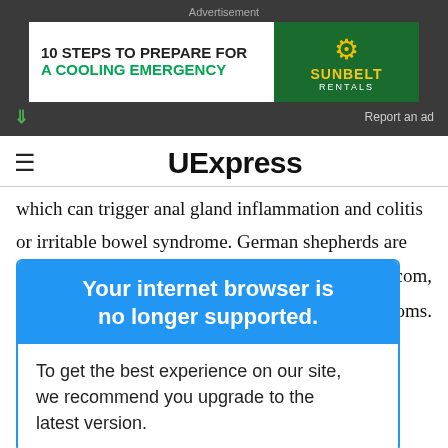[Figure (screenshot): Advertisement banner: '10 STEPS TO PREPARE FOR A COOLING EMERGENCY' with Sunbelt Rentals branding on dark background]
UExpress
which can trigger anal gland inflammation and colitis or irritable bowel syndrome. German shepherds are
[Figure (screenshot): Browser warning overlay: 'Your internet browser is no longer supported. To get the best experience on our site, we recommend you upgrade to the latest version.']
on a whitefish
A grain-free diet and supplements such as